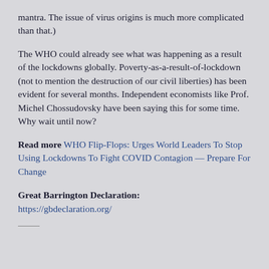mantra. The issue of virus origins is much more complicated than that.)
The WHO could already see what was happening as a result of the lockdowns globally. Poverty-as-a-result-of-lockdown (not to mention the destruction of our civil liberties) has been evident for several months. Independent economists like Prof. Michel Chossudovsky have been saying this for some time. Why wait until now?
Read more WHO Flip-Flops: Urges World Leaders To Stop Using Lockdowns To Fight COVID Contagion — Prepare For Change
Great Barrington Declaration: https://gbdeclaration.org/